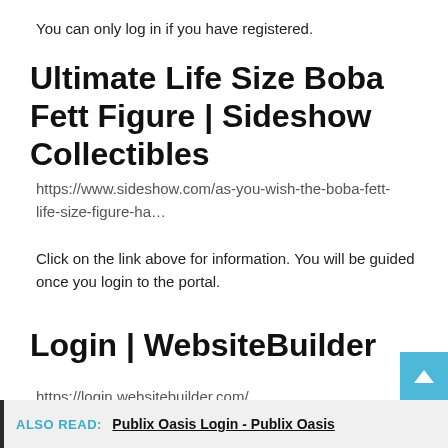You can only log in if you have registered.
Ultimate Life Size Boba Fett Figure | Sideshow Collectibles
https://www.sideshow.com/as-you-wish-the-boba-fett-life-size-figure-ha…
Click on the link above for information. You will be guided once you login to the portal.
Login | WebsiteBuilder
https://login.websitebuilder.com/
ALSO READ:  Publix Oasis Login - Publix Oasis